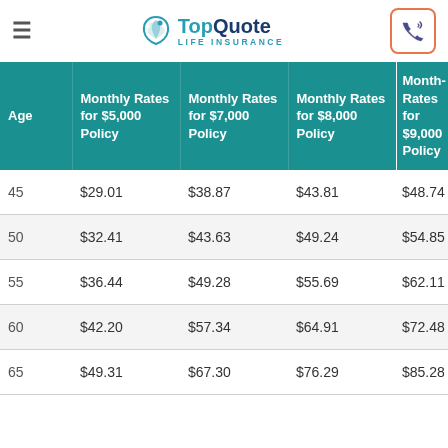TopQuote Life Insurance
| Age | Monthly Rates for $5,000 Policy | Monthly Rates for $7,000 Policy | Monthly Rates for $8,000 Policy | Monthly Rates for $9,000 Policy |
| --- | --- | --- | --- | --- |
| 45 | $29.01 | $38.87 | $43.81 | $48.74 |
| 50 | $32.41 | $43.63 | $49.24 | $54.85 |
| 55 | $36.44 | $49.28 | $55.69 | $62.11 |
| 60 | $42.20 | $57.34 | $64.91 | $72.48 |
| 65 | $49.31 | $67.30 | $76.29 | $85.28 |